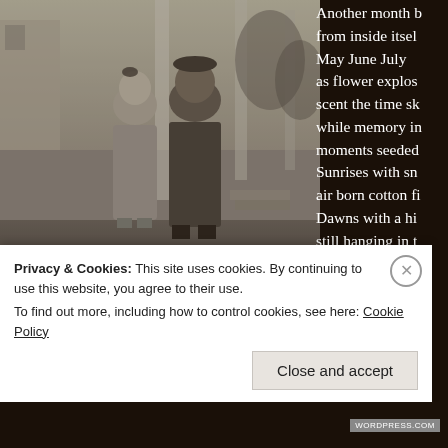[Figure (photo): Black and white historical photograph of two children, a girl and a boy, standing outdoors in front of wooden structures. The image has a sepia/grainy tone typical of early 20th century photography.]
Another month b
from inside itsel
May June July
as flower explos
scent the time sk
while memory in
moments seeded
Sunrises with sn
air born cotton fi
Dawns with a hi
still hanging in t
leftover midnigh
Privacy & Cookies: This site uses cookies. By continuing to use this website, you agree to their use.
To find out more, including how to control cookies, see here: Cookie Policy
Close and accept